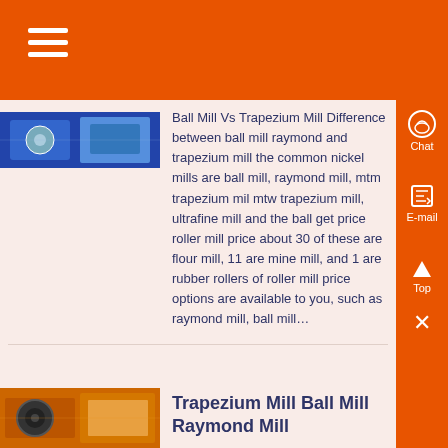[Figure (photo): Industrial machinery photo - ball mill or trapezium mill equipment, blue tones]
Ball Mill Vs Trapezium Mill Difference between ball mill raymond and trapezium mill the common nickel mills are ball mill, raymond mill, mtm trapezium mil mtw trapezium mill, ultrafine mill and the ball get price roller mill price about 30 of these are flour mill, 11 are mine mill, and 1 are rubber rollers of roller mill price options are available to you, such as raymond mill, ball mill...
[Figure (photo): Industrial machinery photo - trapezium mill or ball mill equipment, orange and brown tones]
Trapezium Mill Ball Mill Raymond Mill